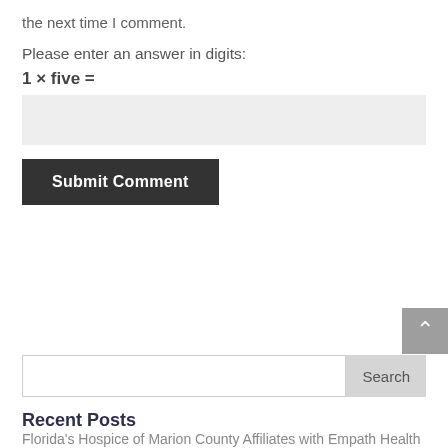the next time I comment.
Please enter an answer in digits:
1 × five =
[Figure (screenshot): Text input field for CAPTCHA answer, light gray background]
[Figure (screenshot): Submit Comment button, dark gray/black background with white bold text]
[Figure (screenshot): Scroll-to-top button, gray with upward chevron arrow]
[Figure (screenshot): Search input field with Search button]
Recent Posts
Florida's Hospice of Marion County Affiliates with Empath Health – Hospice News